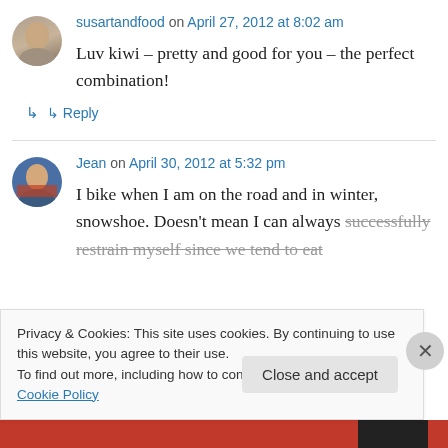susartandfood on April 27, 2012 at 8:02 am
Luv kiwi – pretty and good for you – the perfect combination!
↳ Reply
Jean on April 30, 2012 at 5:32 pm
I bike when I am on the road and in winter, snowshoe. Doesn't mean I can always successfully restrain myself since we tend to eat
Privacy & Cookies: This site uses cookies. By continuing to use this website, you agree to their use.
To find out more, including how to control cookies, see here: Cookie Policy
Close and accept